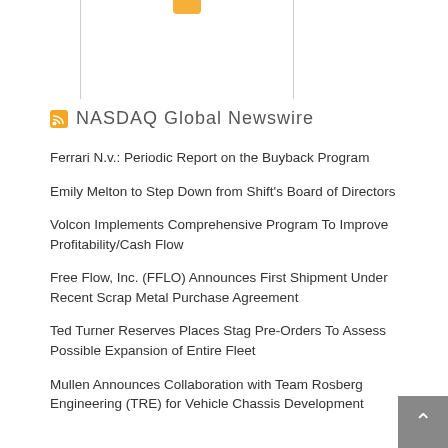[Figure (other): Top portion of a news widget or panel with vertical border lines suggesting an image/chart area]
NASDAQ Global Newswire
Ferrari N.v.: Periodic Report on the Buyback Program
Emily Melton to Step Down from Shift's Board of Directors
Volcon Implements Comprehensive Program To Improve Profitability/Cash Flow
Free Flow, Inc. (FFLO) Announces First Shipment Under Recent Scrap Metal Purchase Agreement
Ted Turner Reserves Places Stag Pre-Orders To Assess Possible Expansion of Entire Fleet
Mullen Announces Collaboration with Team Rosberg Engineering (TRE) for Vehicle Chassis Development